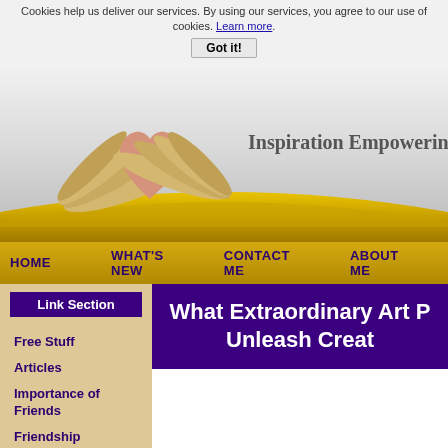Cookies help us deliver our services. By using our services, you agree to our use of cookies. Learn more.
Got it!
[Figure (illustration): Website header banner with winged heart logo and text 'Inspiration Empowering Chi...' on a grey gradient background with gold arc decoration]
HOME   WHAT'S NEW   CONTACT ME   ABOUT ME
Link Section
What Extraordinary Art P... Unleash Creat...
Free Stuff
Articles
Importance of Friends
Friendship
Character Education
Character Ed